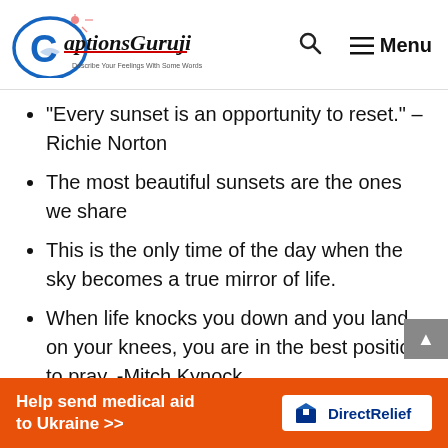CaptionsGuruji — Menu
“Every sunset is an opportunity to reset.” – Richie Norton
The most beautiful sunsets are the ones we share
This is the only time of the day when the sky becomes a true mirror of life.
When life knocks you down and you land on your knees, you are in the best position to pray. -Mitch Kynock
Sunset is a wonderful opportunit…
[Figure (logo): Direct Relief logo with package icon]
Help send medical aid to Ukraine >>